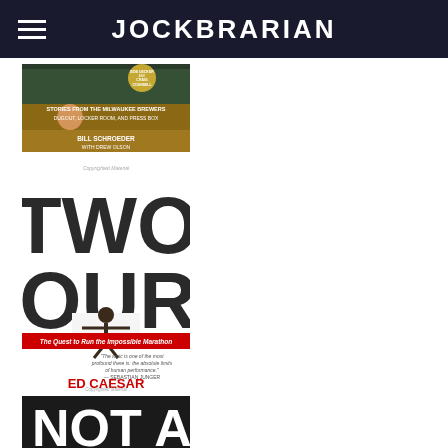JOCKBRARIAN
[Figure (photo): Book cover: Stories from the Milwaukee Brewers Dugout, Locker Room, and Press Box by Bill Schroeder with Drew Olson. Features Bob Uecker and Craig Counsell names at top, photo of players and broadcaster.]
[Figure (photo): Book cover: Two Hours - The Quest to Run the Impossible Marathon by Ed Caesar. Large bold TWO HOURS text with runner image and red banner subtitle.]
[Figure (photo): Book cover: Partially visible book starting with NOT A... text in large white letters on black background.]